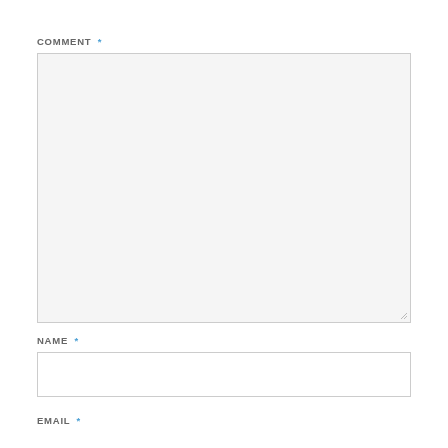COMMENT *
[Figure (screenshot): Empty comment textarea input box with light gray background and resize handle in bottom-right corner]
NAME *
[Figure (screenshot): Empty name text input box with white background]
EMAIL *